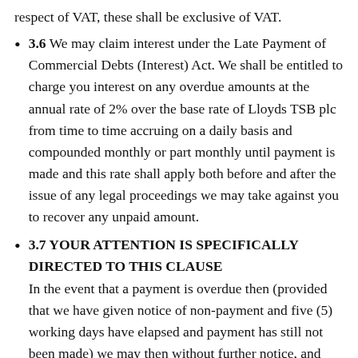respect of VAT, these shall be exclusive of VAT.
3.6 We may claim interest under the Late Payment of Commercial Debts (Interest) Act. We shall be entitled to charge you interest on any overdue amounts at the annual rate of 2% over the base rate of Lloyds TSB plc from time to time accruing on a daily basis and compounded monthly or part monthly until payment is made and this rate shall apply both before and after the issue of any legal proceedings we may take against you to recover any unpaid amount.
3.7 YOUR ATTENTION IS SPECIFICALLY DIRECTED TO THIS CLAUSE
In the event that a payment is overdue then (provided that we have given notice of non-payment and five (5) working days have elapsed and payment has still not been made) we may then without further notice, and without prejudice to